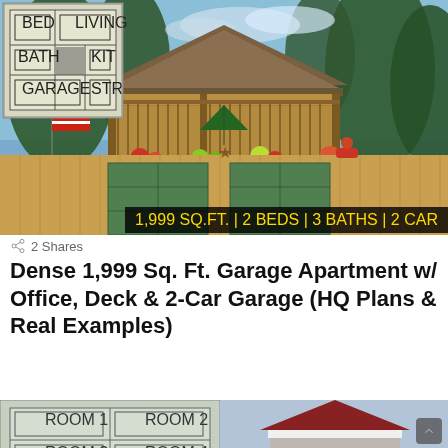[Figure (photo): Photograph of a large two-story garage apartment with wood siding, green garage doors, a deck with hanging flower baskets and a green umbrella, an American flag, surrounded by tall pine trees. A yellow banner at the bottom reads: 1,999 SQ.FT. | 2 BEDS | 3 BATHS | 2 CAR. A floor plan thumbnail is inset in the top-left corner.]
2 Shares
Dense 1,999 Sq. Ft. Garage Apartment w/ Office, Deck & 2-Car Garage (HQ Plans & Real Examples)
[Figure (photo): Partial view of a second image showing a garage apartment building with blue/grey exterior, white trim, and a red brick or shingle gabled roof, partially visible at the bottom of the page.]